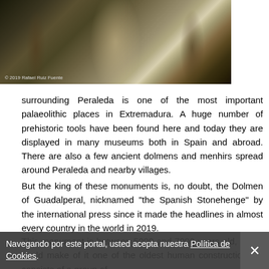[Figure (photo): Interior view of the Dolmen of Guadalalperal (Spanish Stonehenge), showing large vertical standing stones in a corridor arrangement with dramatic lighting. Photo credit: © 2019 Rafael Ruiz Fuente]
© 2019 Rafael Ruiz Fuente
surrounding Peraleda is one of the most important palaeolithic places in Extremadura. A huge number of prehistoric tools have been found here and today they are displayed in many museums both in Spain and abroad. There are also a few ancient dolmens and menhirs spread around Peraleda and nearby villages.
But the king of these monuments is, no doubt, the Dolmen of Guadalperal, nicknamed "the Spanish Stonehenge" by the international press since it made the headlines in almost every country in the world in 2019.
This monument is between 5000 and 7000 years old, which could make of it one of the oldest human constructions. It consists of a group of vertical stones set in a circle. Originally these stones supported a whole structure was quite sophisticated. In 1964 a reservoir was built, and the dolmen went under water. In 2019 it
Navegando por este portal, usted acepta nuestra Política de Cookies.